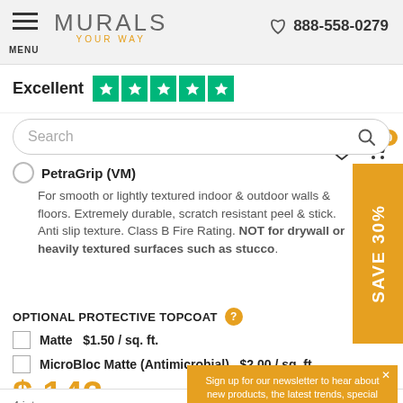MENU | MURALS YOUR WAY | 888-558-0279
Excellent ★★★★★
Search
PetraGrip (VM) - For smooth or lightly textured indoor & outdoor walls & floors. Extremely durable, scratch resistant peel & stick. Anti slip texture. Class B Fire Rating. NOT for drywall or heavily textured surfaces such as stucco.
SAVE 30%
OPTIONAL PROTECTIVE TOPCOAT
Matte  $1.50 / sq. ft.
MicroBloc Matte (Antimicrobial)  $2.00 / sq. ft.
$ 142
4 interest-free payments ... Learn More
Sign up for our newsletter to hear about new products, the latest trends, special promotions and receive 30% off your order.
Sign Up
No thanks